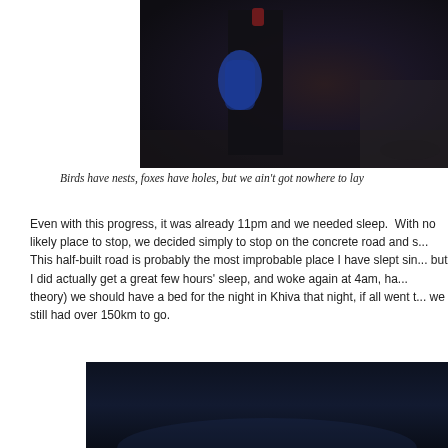[Figure (photo): Dark nighttime photo of a person standing on a road, holding what appears to be a blue bag or blanket, wearing dark clothing]
Birds have nests, foxes have holes, but we ain't got nowhere to lay
Even with this progress, it was already 11pm and we needed sleep.  With no likely place to stop, we decided simply to stop on the concrete road and s... This half-built road is probably the most improbable place I have slept sin... but I did actually get a great few hours' sleep, and woke again at 4am, ha... theory) we should have a bed for the night in Khiva that night, if all went t... we still had over 150km to go.
[Figure (photo): Dark nighttime sky photo, very dark blue-black background, beginning of another outdoor night scene]